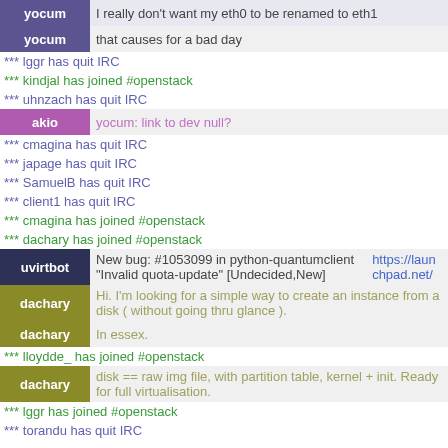yocum: I really don't want my eth0 to be renamed to eth1
yocum: that causes for a bad day
*** lggr has quit IRC
*** kindjal has joined #openstack
*** uhnzach has quit IRC
akio: yocum: link to dev null?
*** cmagina has quit IRC
*** japage has quit IRC
*** SamuelB has quit IRC
*** client1 has quit IRC
*** cmagina has joined #openstack
*** dachary has joined #openstack
uvirtbot: New bug: #1053099 in python-quantumclient "Invalid quota-update" [Undecided,New] https://launchpad.net/
dachary: Hi. I'm looking for a simple way to create an instance from a disk ( without going thru glance ).
dachary: In essex.
*** lloydde_ has joined #openstack
dachary: disk == raw img file, with partition table, kernel + init. Ready for full virtualisation.
*** lggr has joined #openstack
*** torandu has quit IRC